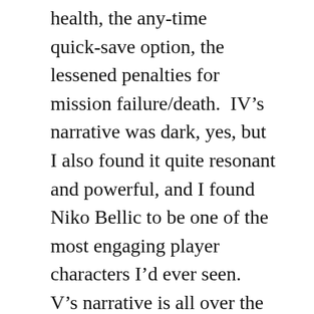health, the any-time quick-save option, the lessened penalties for mission failure/death. IV's narrative was dark, yes, but I also found it quite resonant and powerful, and I found Niko Bellic to be one of the most engaging player characters I'd ever seen. V's narrative is all over the place, and the characters are repugnant and repellant, and I found almost nothing to like about any of the people I was playing as or interacting with; there was no humanity to be found anywhere. Perhaps they evaded “ludonarrative dissonance” by making these characters more likely to engage in the sorts of things they did, but that didn’t make them any more fun to be around.